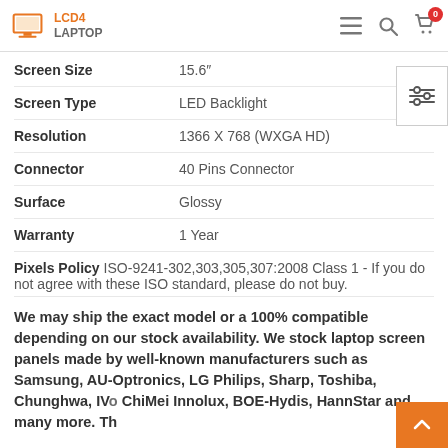LCD4LAPTOP
| Attribute | Value |
| --- | --- |
| Screen Size | 15.6" |
| Screen Type | LED Backlight |
| Resolution | 1366 X 768 (WXGA HD) |
| Connector | 40 Pins Connector |
| Surface | Glossy |
| Warranty | 1 Year |
| Pixels Policy | ISO-9241-302,303,305,307:2008 Class 1 - If you do not agree with these ISO standard, please do not buy. |
We may ship the exact model or a 100% compatible depending on our stock availability. We stock laptop screen panels made by well-known manufacturers such as Samsung, AU-Optronics, LG Philips, Sharp, Toshiba, Chunghwa, IVO, ChiMei Innolux, BOE-Hydis, HannStar and many more. Th